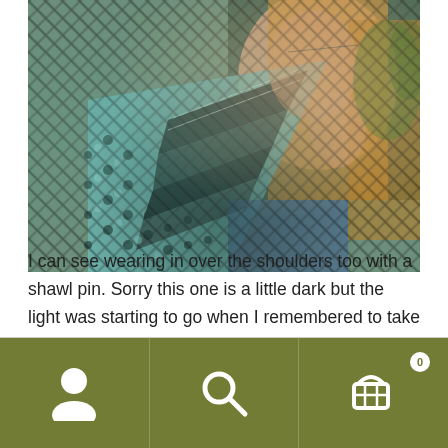[Figure (photo): A woman wearing a handknitted or crocheted triangular shawl with a lace/mesh pattern in teal and dark blue/grey striped colors, posed against an outdoor background. She has long blonde hair and glasses, with her hand raised near her neck.]
I can see wearing in over the shoulders too with a shawl pin. Sorry this one is a little dark but the light was starting to go when I remembered to take one with a shawl pin.
Navigation bar with account, search, and cart (0) icons